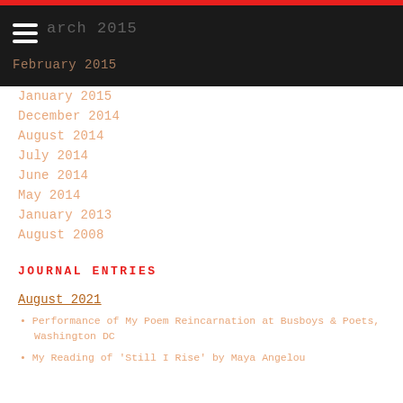February 2015
January 2015
December 2014
August 2014
July 2014
June 2014
May 2014
January 2013
August 2008
JOURNAL ENTRIES
August 2021
Performance of My Poem Reincarnation at Busboys & Poets, Washington DC
My Reading of 'Still I Rise' by Maya Angelou